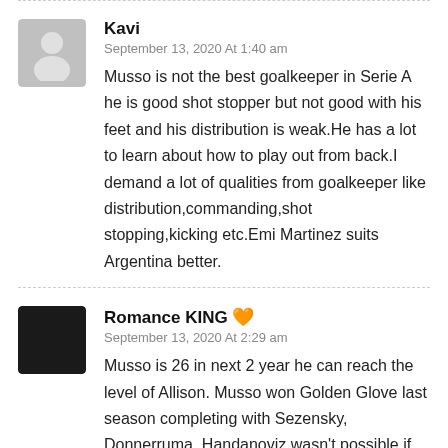Kavi
September 13, 2020 At 1:40 am
Musso is not the best goalkeeper in Serie A he is good shot stopper but not good with his feet and his distribution is weak.He has a lot to learn about how to play out from back.I demand a lot of qualities from goalkeeper like distribution,commanding,shot stopping,kicking etc.Emi Martinez suits Argentina better.
Romance KING 🧡
September 13, 2020 At 2:29 am
Musso is 26 in next 2 year he can reach the level of Allison. Musso won Golden Glove last season completing with Sezensky, Donnerruma, Handanoviz wasn't possible if he isn't good enough. Musso is better Emi...